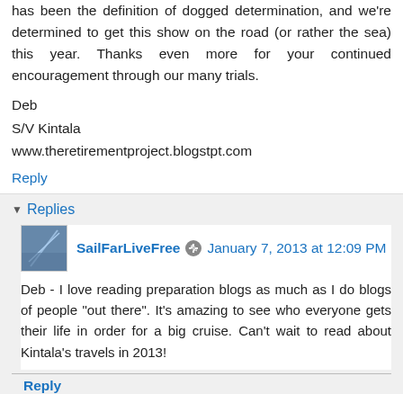has been the definition of dogged determination, and we're determined to get this show on the road (or rather the sea) this year. Thanks even more for your continued encouragement through our many trials.
Deb
S/V Kintala
www.theretirementproject.blogstpt.com
Reply
Replies
SailFarLiveFree  January 7, 2013 at 12:09 PM
Deb - I love reading preparation blogs as much as I do blogs of people "out there". It's amazing to see who everyone gets their life in order for a big cruise. Can't wait to read about Kintala's travels in 2013!
Reply